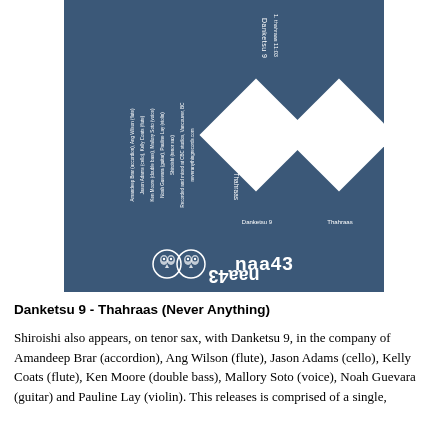[Figure (illustration): Album cover art for Danketsu 9 - Thahraas on Never Anything Records. Dark steel-blue background with two white rotated diamond shapes (lozenges) in the center-right. Small text labels for artist and album title below the diamonds. Left side has small vertical text listing track/personnel info. Bottom has two small owl logos and 'naa43' label text.]
Danketsu 9 - Thahraas (Never Anything)
Shiroishi also appears, on tenor sax, with Danketsu 9, in the company of Amandeep Brar (accordion), Ang Wilson (flute), Jason Adams (cello), Kelly Coats (flute), Ken Moore (double bass), Mallory Soto (voice), Noah Guevara (guitar) and Pauline Lay (violin). This releases is comprised of a single,